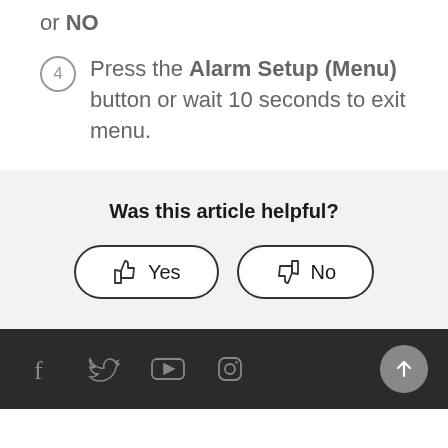or NO
4  Press the Alarm Setup (Menu) button or wait 10 seconds to exit menu.
Was this article helpful?
Yes   No
Social icons: Facebook, Twitter, YouTube, Instagram. Scroll to top button.